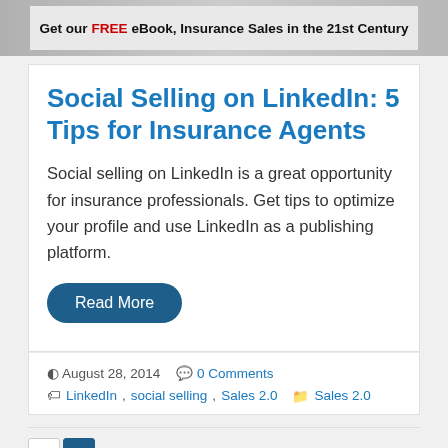[Figure (illustration): Banner image for a free eBook about Insurance Sales in the 21st Century, with text overlay reading 'Get our FREE eBook, Insurance Sales in the 21st Century']
Social Selling on LinkedIn: 5 Tips for Insurance Agents
Social selling on LinkedIn is a great opportunity for insurance professionals. Get tips to optimize your profile and use LinkedIn as a publishing platform.
Read More
August 28, 2014  0 Comments
LinkedIn,  social selling,  Sales 2.0  Sales 2.0